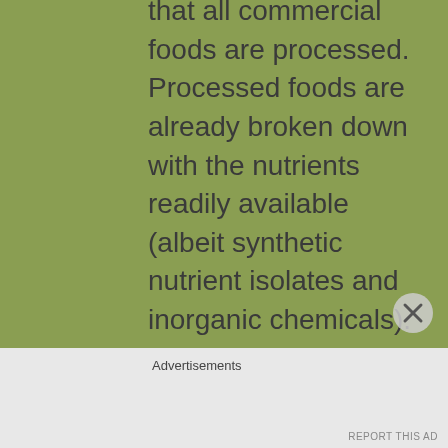that all commercial foods are processed. Processed foods are already broken down with the nutrients readily available (albeit synthetic nutrient isolates and inorganic chemicals). Feeding your dog a whole-foods diet requires a more extensive digestive process. Whole-foods require a lot more time (and energy) to break them down to
Advertisements